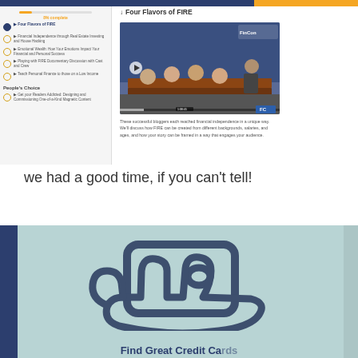[Figure (screenshot): Course sidebar menu showing Four Flavors of FIRE selected, with other course items listed and a People's Choice section]
Four Flavors of FIRE
[Figure (photo): Video thumbnail showing a panel of bloggers seated at a table with a blue backdrop, with play button overlay and FC badge]
These successful bloggers each reached financial independence in a unique way. We'll discuss how FIRE can be created from different backgrounds, salaries, and ages, and how your story can be framed in a way that engages your audience.
we had a good time, if you can't tell!
[Figure (illustration): Credit card icon on light teal background with hand holding card, and partial text below]